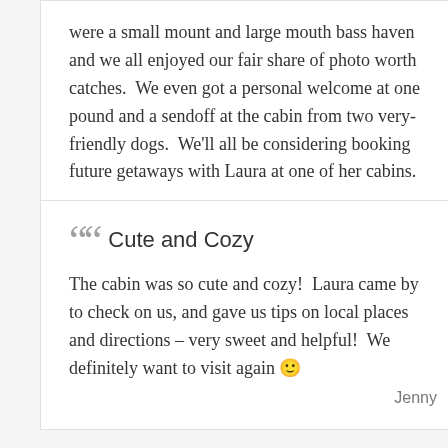were a small mount and large mouth bass haven and we all enjoyed our fair share of photo worth catches.  We even got a personal welcome at one pound and a sendoff at the cabin from two very-friendly dogs.  We'll all be considering booking future getaways with Laura at one of her cabins.
Cute and Cozy
The cabin was so cute and cozy!  Laura came by to check on us, and gave us tips on local places and directions – very sweet and helpful!  We definitely want to visit again 🙂
Jenny